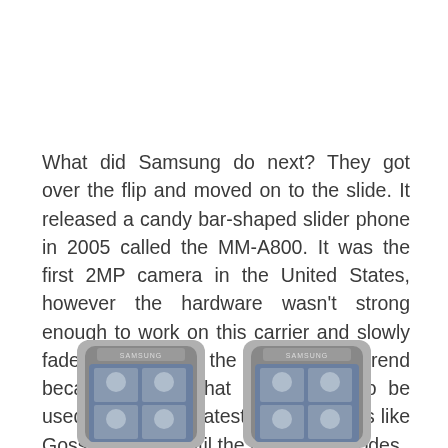What did Samsung do next? They got over the flip and moved on to the slide. It released a candy bar-shaped slider phone in 2005 called the MM-A800. It was the first 2MP camera in the United States, however the hardware wasn't strong enough to work on this carrier and slowly faded away. But, the slide phone trend became so hip, that it continued to be used even on the latest 90s TV shows like Gossip Girl, up until the last few episodes.
[Figure (photo): Two Samsung MM-A800 slider phones side by side, partially cropped at the bottom of the page, showing the Samsung logo and icon-based display screens.]